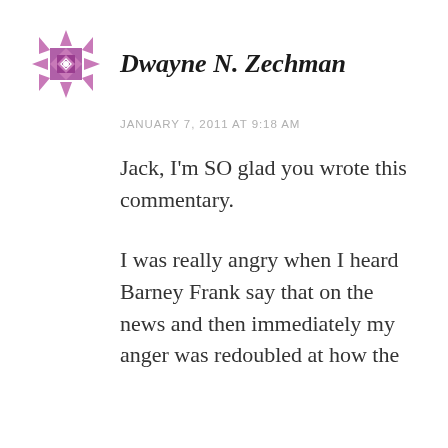[Figure (logo): Purple/mauve geometric snowflake or quilt pattern avatar icon for user Dwayne N. Zechman]
Dwayne N. Zechman
JANUARY 7, 2011 AT 9:18 AM
Jack, I'm SO glad you wrote this commentary.
I was really angry when I heard Barney Frank say that on the news and then immediately my anger was redoubled at how the